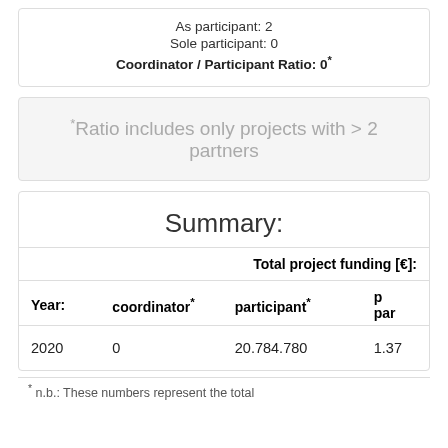As participant: 2
Sole participant: 0
Coordinator / Participant Ratio: 0*
*Ratio includes only projects with > 2 partners
Summary:
| Year: | coordinator* | participant* | p par |
| --- | --- | --- | --- |
| 2020 | 0 | 20.784.780 | 1.37 |
* n.b.: These numbers represent the total